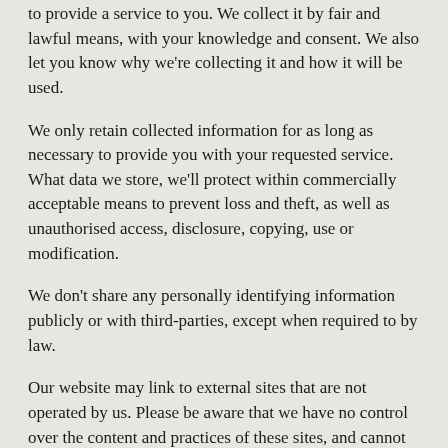to provide a service to you. We collect it by fair and lawful means, with your knowledge and consent. We also let you know why we're collecting it and how it will be used.
We only retain collected information for as long as necessary to provide you with your requested service. What data we store, we'll protect within commercially acceptable means to prevent loss and theft, as well as unauthorised access, disclosure, copying, use or modification.
We don't share any personally identifying information publicly or with third-parties, except when required to by law.
Our website may link to external sites that are not operated by us. Please be aware that we have no control over the content and practices of these sites, and cannot accept responsibility or liability for their respective privacy policies.
You are free to refuse our request for your personal information, with the understanding that we may be unable